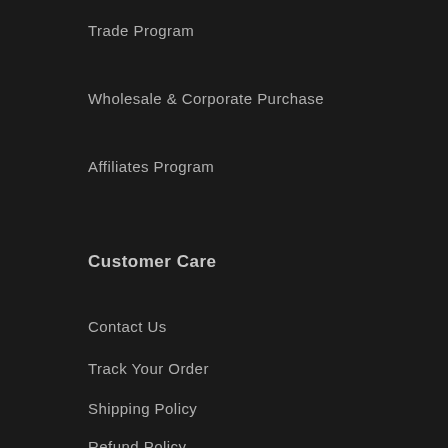Trade Program
Wholesale & Corporate Purchase
Affiliates Program
Customer Care
Contact Us
Track Your Order
Shipping Policy
Refund Policy
Privacy Policy